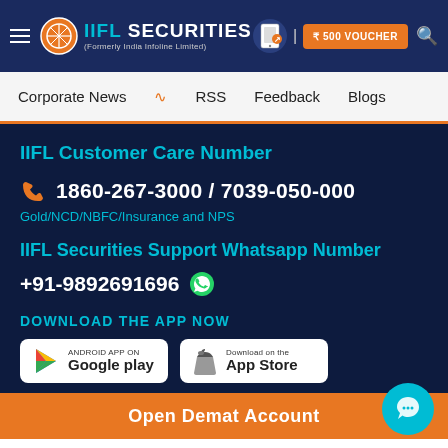IIFL Securities (Formerly India Infoline Limited) | ₹500 VOUCHER
Corporate News  RSS  Feedback  Blogs
IIFL Customer Care Number
1860-267-3000 / 7039-050-000
Gold/NCD/NBFC/Insurance and NPS
IIFL Securities Support Whatsapp Number
+91-9892691696
DOWNLOAD THE APP NOW
[Figure (logo): Google Play and App Store download buttons]
Open Demat Account